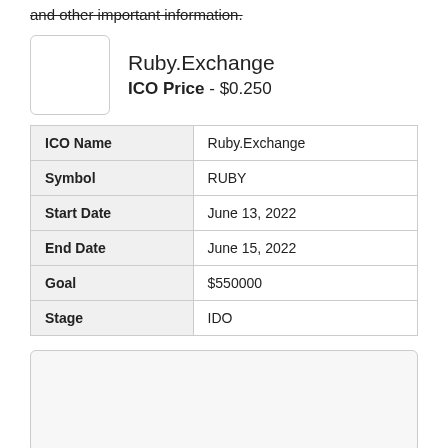and other important information.
[Figure (logo): Ruby.Exchange logo placeholder box]
Ruby.Exchange
ICO Price - $0.250
| ICO Name | Ruby.Exchange |
| Symbol | RUBY |
| Start Date | June 13, 2022 |
| End Date | June 15, 2022 |
| Goal | $550000 |
| Stage | IDO |
[Figure (other): Empty card placeholder area at bottom of page]